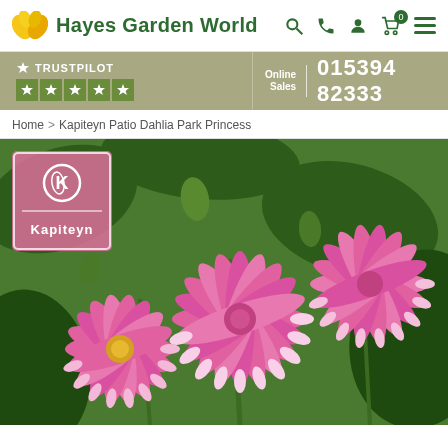Hayes Garden World — Online Sales 015394 82333
TRUSTPILOT ★★★★★
Home > Kapiteyn Patio Dahlia Park Princess
[Figure (photo): Close-up photograph of pink cactus-type dahlia flowers (Kapiteyn Patio Dahlia Park Princess) with spiky pink and white petals against green foliage, with a Kapiteyn brand badge overlay in the top-left corner.]